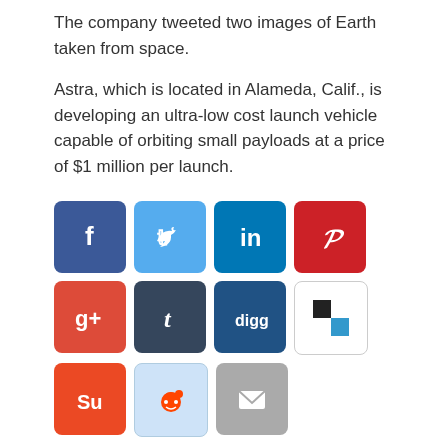The company tweeted two images of Earth taken from space.
Astra, which is located in Alameda, Calif., is developing an ultra-low cost launch vehicle capable of orbiting small payloads at a price of $1 million per launch.
[Figure (infographic): Row of social media share buttons: Facebook (blue), Twitter (light blue), LinkedIn (dark blue), Pinterest (red), Google+ (red), Tumblr (dark blue), Digg (dark blue), share/chess icon (black/white); second row: StumbleUpon (orange), Reddit (light blue), Email (gray)]
Chang'e-5 Return Vehicle on Way Back to Earth
Rocket Lab Readies Photon Spacecraft for NASA Moon Mission
ALSO ON PARABOLIC ARC